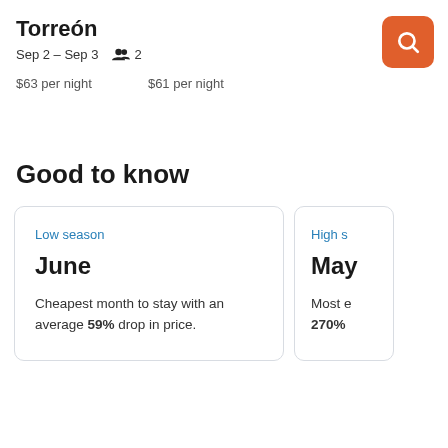Torreón — Sep 2 – Sep 3 — 2 guests
$63 per night    $61 per night
Good to know
Low season
June
Cheapest month to stay with an average 59% drop in price.
High season
May
Most expensive month with a 270% increase in price.